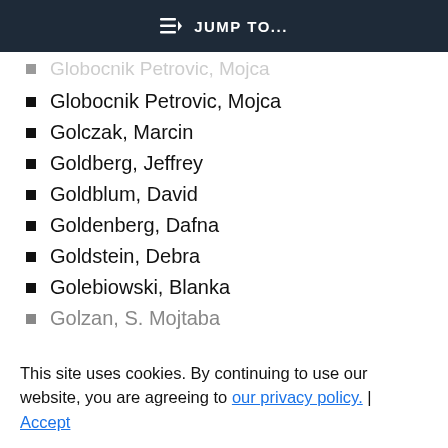JUMP TO...
Globocnik Petrovic, Mojca
Golczak, Marcin
Goldberg, Jeffrey
Goldblum, David
Goldenberg, Dafna
Goldstein, Debra
Golebiowski, Blanka
Golzan, S. Mojtaba
This site uses cookies. By continuing to use our website, you are agreeing to our privacy policy. Accept